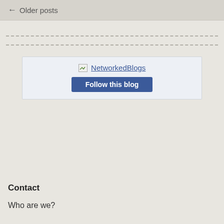← Older posts
[Figure (screenshot): NetworkedBlogs widget showing a logo placeholder image labeled 'NetworkedBlogs' and a blue 'Follow this blog' button, on a light blue-grey background panel]
Contact
Who are we?